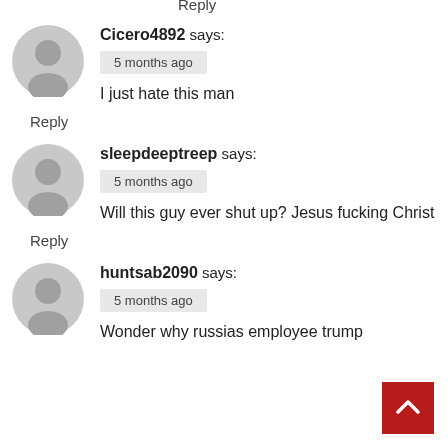Reply
Cicero4892 says:
5 months ago
I just hate this man
Reply
sleepdeeptreep says:
5 months ago
Will this guy ever shut up? Jesus fucking Christ
Reply
huntsab2090 says:
5 months ago
Wonder why russias employee trump